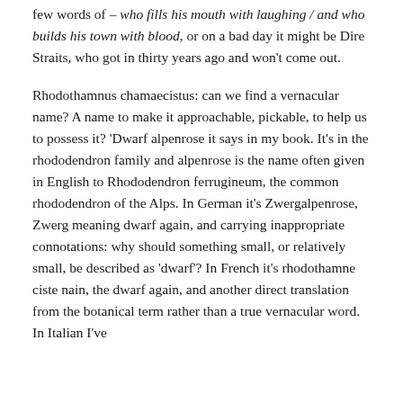few words of – who fills his mouth with laughing / and who builds his town with blood, or on a bad day it might be Dire Straits, who got in thirty years ago and won't come out.
Rhodothamnus chamaecistus: can we find a vernacular name? A name to make it approachable, pickable, to help us to possess it? 'Dwarf alpenrose it says in my book. It's in the rhododendron family and alpenrose is the name often given in English to Rhododendron ferrugineum, the common rhododendron of the Alps. In German it's Zwergalpenrose, Zwerg meaning dwarf again, and carrying inappropriate connotations: why should something small, or relatively small, be described as 'dwarf'? In French it's rhodothamne ciste nain, the dwarf again, and another direct translation from the botanical term rather than a true vernacular word. In Italian I've